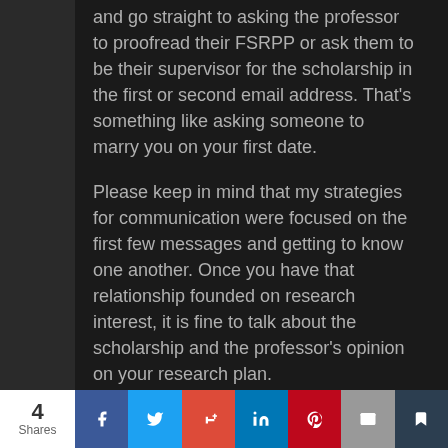and go straight to asking the professor to proofread their FSRPP or ask them to be their supervisor for the scholarship in the first or second email address. That's something like asking someone to marry you on your first date.

Please keep in mind that my strategies for communication were focused on the first few messages and getting to know one another. Once you have that relationship founded on research interest, it is fine to talk about the scholarship and the professor's opinion on your research plan.
4 Shares | Facebook | Twitter | Google+ | LinkedIn | Pinterest | Email | Bookmark